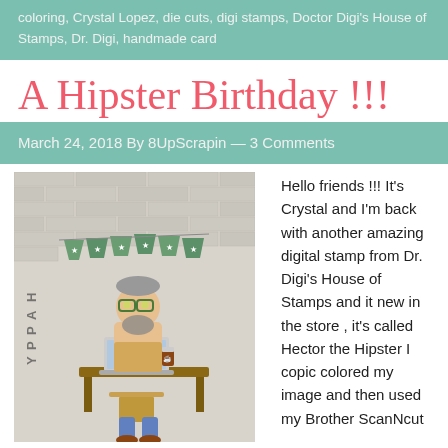coloring, Crystal Lopez, die cuts, digi stamps, Doctor Digi's House of Stamps, Dr. Digi, handmade card
A Hipster Birthday !!!
March 24, 2018 By 8UpScrapin — 3 Comments
[Figure (photo): Handmade birthday card featuring a hipster character (Hector the Hipster) colored with Copic markers, sitting at a desk with a laptop, with green banner bunting and HAPPY BIRTHDAY text, set against a brick wall background]
Hello friends !!! It's Crystal and I'm back with another amazing digital stamp from Dr. Digi's House of Stamps and it new in the store , it's called Hector the Hipster I copic colored my image and then used my Brother ScanNcut